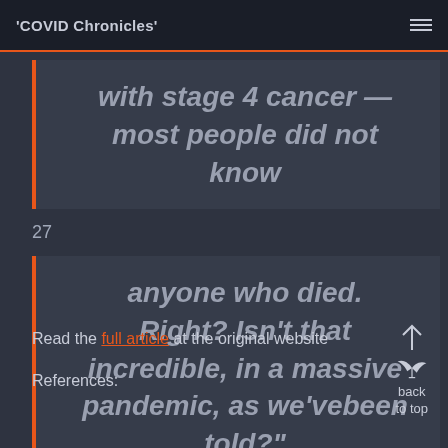'COVID Chronicles'
with stage 4 cancer — most people did not know
27
anyone who died. Right? Isn't that incredible, in a massive pandemic, as we'vebeen told?"
Read the full article at the original website
References:
back to top